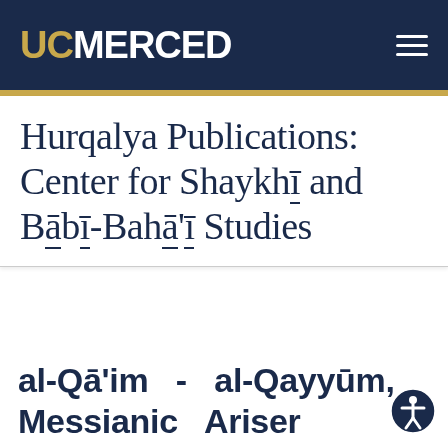UC MERCED
Hurqalya Publications: Center for Shaykhī and Bābī-Bahā'ī Studies
al-Qā'im  -  al-Qayyūm,
Messianic  Ariser  &d